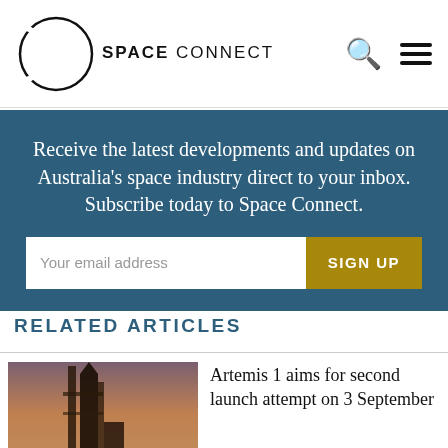SPACE CONNECT
Receive the latest developments and updates on Australia’s space industry direct to your inbox. Subscribe today to Space Connect.
Your email address
SIGN UP
RELATED ARTICLES
Artemis 1 aims for second launch attempt on 3 September